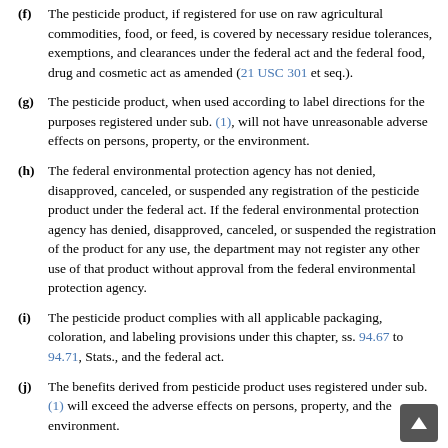(f) The pesticide product, if registered for use on raw agricultural commodities, food, or feed, is covered by necessary residue tolerances, exemptions, and clearances under the federal act and the federal food, drug and cosmetic act as amended (21 USC 301 et seq.).
(g) The pesticide product, when used according to label directions for the purposes registered under sub. (1), will not have unreasonable adverse effects on persons, property, or the environment.
(h) The federal environmental protection agency has not denied, disapproved, canceled, or suspended any registration of the pesticide product under the federal act. If the federal environmental protection agency has denied, disapproved, canceled, or suspended the registration of the product for any use, the department may not register any other use of that product without approval from the federal environmental protection agency.
(i) The pesticide product complies with all applicable packaging, coloration, and labeling provisions under this chapter, ss. 94.67 to 94.71, Stats., and the federal act.
(j) The benefits derived from pesticide product uses registered under sub. (1) will exceed the adverse effects on persons, property, and the environment.
(k) The pesticide product is currently registered under the federal act, or is formulated from ingredients which are all found in other federally registered pesticide products.